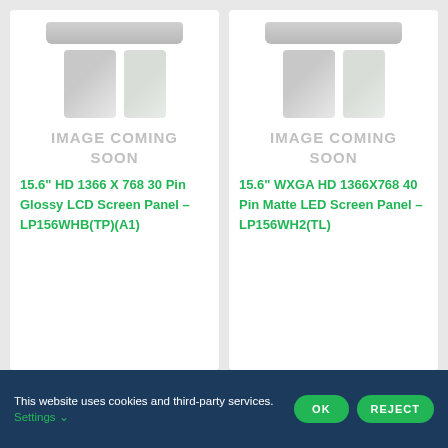[Figure (other): Product card with 'IMAGE COMING SOON' placeholder graphic for 15.6" HD 1366 X 768 30 Pin Glossy LCD Screen Panel – LP156WHB(TP)(A1)]
15.6" HD 1366 X 768 30 Pin Glossy LCD Screen Panel – LP156WHB(TP)(A1)
[Figure (other): Product card with 'IMAGE COMING SOON' placeholder graphic for 15.6" WXGA HD 1366X768 40 Pin Matte LED Screen Panel – LP156WH2(TL)]
15.6" WXGA HD 1366X768 40 Pin Matte LED Screen Panel – LP156WH2(TL)
This website uses cookies and third-party services. Settings